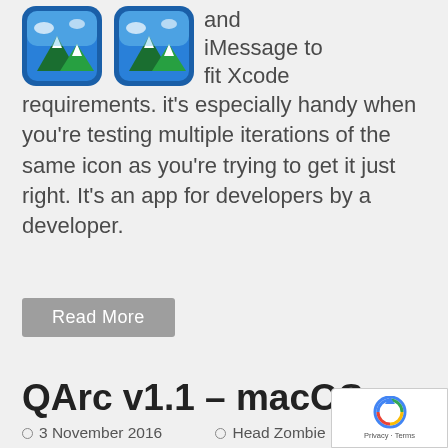[Figure (illustration): Two app icons shown side by side — both showing mountain landscape with blue rounded-square border. Partial page top showing continuation of previous content.]
and iMessage to fit Xcode requirements. it's especially handy when you're testing multiple iterations of the same icon as you're trying to get it just right. It's an app for developers by a developer.
Read More
QArc v1.1 – macOS
3 November 2016   Head Zombie
Apps, Developer Tools, Featured, macOS
No Comments
[Figure (illustration): Partial blue circular app icon visible at bottom left, and partial text 'Develo' and 'and QA' visible at right, cut off at page bottom. reCAPTCHA badge visible in bottom right corner.]